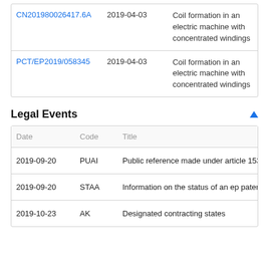|  | Date | Title |
| --- | --- | --- |
| CN201980026417.6A | 2019-04-03 | Coil formation in an electric machine with concentrated windings |
| PCT/EP2019/058345 | 2019-04-03 | Coil formation in an electric machine with concentrated windings |
Legal Events
| Date | Code | Title |
| --- | --- | --- |
| 2019-09-20 | PUAI | Public reference made under article 153(3) e |
| 2019-09-20 | STAA | Information on the status of an ep patent app |
| 2019-10-23 | AK | Designated contracting states |